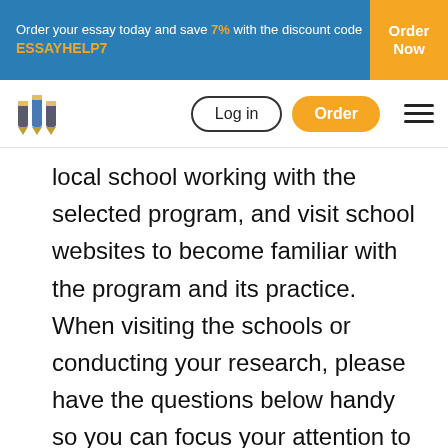Order your essay today and save 7% with the discount code ESSAYHELP7 | Order Now
[Figure (screenshot): Website navigation bar with pencil logo, Log in button, orange Order button, and hamburger menu icon]
local school working with the selected program, and visit school websites to become familiar with the program and its practice. When visiting the schools or conducting your research, please have the questions below handy so you can focus your attention to Developmentally Appropriate Practices that you observe.